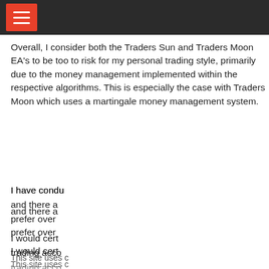Overall, I consider both the Traders Sun and Traders Moon EA’s to be too to risk for my personal trading style, primarily due to the money management implemented within the respective algorithms. This is especially the case with Traders Moon which uses a martingale money management system.
I have condu[cted extensive testing of forex EAs] and there a[re better alternatives I would] prefer over [these products.]
I would cert[ainly not recommend funding a live] trading acco[unt with either of these EAs.]
This site uses c[ookies...]
[Figure (infographic): Popup advertisement for Free Forex Robot. Contains title 'Free Forex Robot!', an image of a Forex GeekBot software box, text 'Sign Up Now to Get Instant Access to my Free Forex Robot.', a close button (x), and an orange 'Download Now' button.]